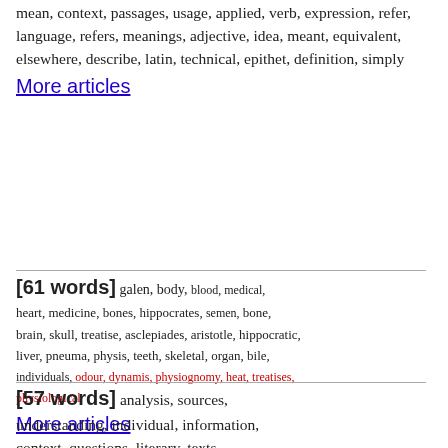mean, context, passages, usage, applied, verb, expression, refer, language, refers, meanings, adjective, idea, meant, equivalent, elsewhere, describe, latin, technical, epithet, definition, simply
More articles
[61 words] galen, body, blood, medical, heart, medicine, bones, hippocrates, semen, bone, brain, skull, treatise, asclepiades, aristotle, hippocratic, liver, pneuma, physis, teeth, skeletal, organ, bile, individuals, odour, dynamis, physiognomy, heat, treatises, physiological
More articles
[57 words] analysis, sources, understanding, individual, information, context, questions, literary, texts, development, role, provide, structure, aspects, early, basic, complex, traditional, range, provides, data, function, significant, patterns, process, useful, pattern, attempt, limited, techniques
More articles
[77 words]